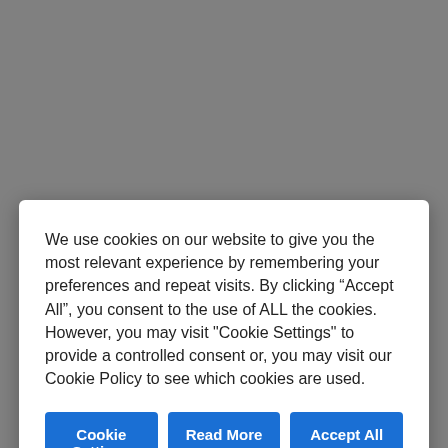[Figure (logo): Beech Web Services logo with green text on gray background]
We use cookies on our website to give you the most relevant experience by remembering your preferences and repeat visits. By clicking “Accept All”, you consent to the use of ALL the cookies. However, you may visit "Cookie Settings" to provide a controlled consent or, you may visit our Cookie Policy to see which cookies are used.
Cookie Settings | Read More | Accept All